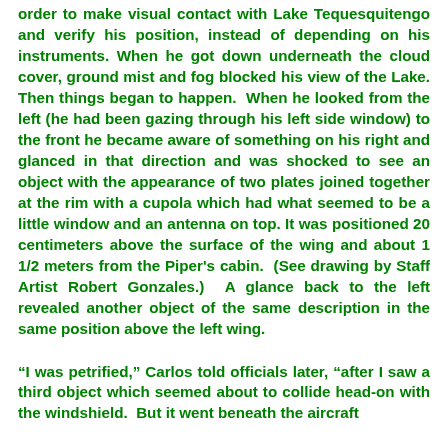order to make visual contact with Lake Tequesquitengo and verify his position, instead of depending on his instruments. When he got down underneath the cloud cover, ground mist and fog blocked his view of the Lake. Then things began to happen.  When he looked from the left (he had been gazing through his left side window) to the front he became aware of something on his right and glanced in that direction and was shocked to see an object with the appearance of two plates joined together at the rim with a cupola which had what seemed to be a little window and an antenna on top. It was positioned 20 centimeters above the surface of the wing and about 1 1/2 meters from the Piper's cabin.  (See drawing by Staff Artist Robert Gonzales.)  A glance back to the left revealed another object of the same description in the same position above the left wing.
“I was petrified,” Carlos told officials later, “after I saw a third object which seemed about to collide head-on with the windshield. But it went beneath the aircraft